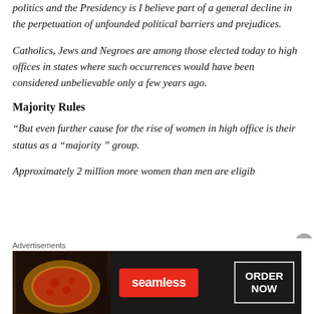politics and the Presidency is I believe part of a general decline in the perpetuation of unfounded political barriers and prejudices.
Catholics, Jews and Negroes are among those elected today to high offices in states where such occurrences would have been considered unbelievable only a few years ago.
Majority Rules
“But even further cause for the rise of women in high office is their status as a “majority ” group.
Approximately 2 million more women than men are eligib…
[Figure (other): Advertisement banner for Seamless food delivery showing pizza image on dark background, Seamless logo in red, and ORDER NOW button]